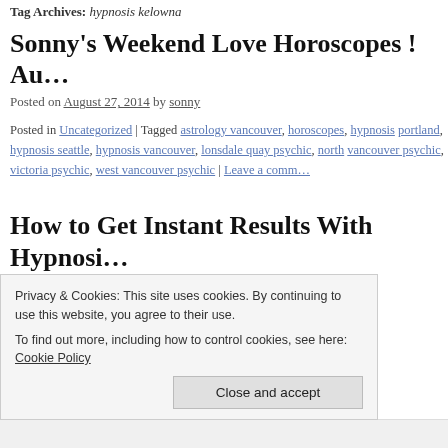Tag Archives: hypnosis kelowna
Sonny's Weekend Love Horoscopes ! Au…
Posted on August 27, 2014 by sonny
Posted in Uncategorized | Tagged astrology vancouver, horoscopes, hypnosis portland, hypnosis seattle, hypnosis vancouver, lonsdale quay psychic, north vancouver psychic, victoria psychic, west vancouver psychic | Leave a comm…
How to Get Instant Results With Hypnosi… Your Mind
Posted on April 2, 2014 by sonny
This gallery contains 1 photo.
Privacy & Cookies: This site uses cookies. By continuing to use this website, you agree to their use.
To find out more, including how to control cookies, see here: Cookie Policy
Close and accept